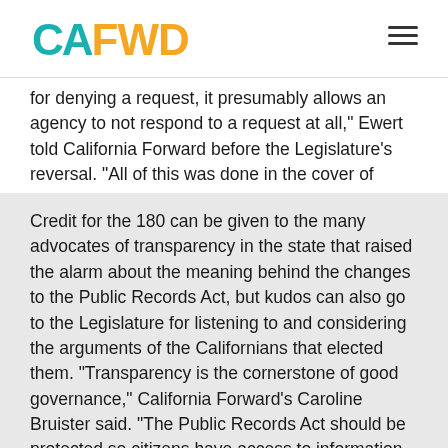CA FWD
for denying a request, it presumably allows an agency to not respond to a request at all," Ewert told California Forward before the Legislature's reversal. "All of this was done in the cover of darkness and without a single policy committee hearing."
Credit for the 180 can be given to the many advocates of transparency in the state that raised the alarm about the meaning behind the changes to the Public Records Act, but kudos can also go to the Legislature for listening to and considering the arguments of the Californians that elected them. "Transparency is the cornerstone of good governance," California Forward's Caroline Bruister said. "The Public Records Act should be protected so citizens have access to information about how decisions are made."
Not only do we believe this, we dedicate our time and